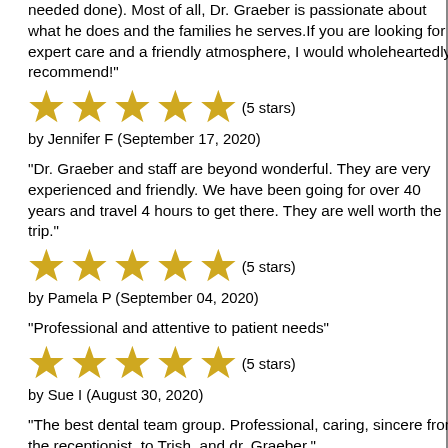needed done). Most of all, Dr. Graeber is passionate about what he does and the families he serves.If you are looking for expert care and a friendly atmosphere, I would wholeheartedly recommend!"
(5 stars)
by Jennifer F (September 17, 2020)
"Dr. Graeber and staff are beyond wonderful. They are very experienced and friendly. We have been going for over 40 years and travel 4 hours to get there. They are well worth the trip."
(5 stars)
by Pamela P (September 04, 2020)
"Professional and attentive to patient needs"
(5 stars)
by Sue I (August 30, 2020)
"The best dental team group. Professional, caring, sincere from the receptionist, to Trish, and dr. Graeber."
(5 stars)
by Remy A (August 30, 2020)
"The office was extremely clean (as allows) and the staff was kind and extremely concerned w all of the